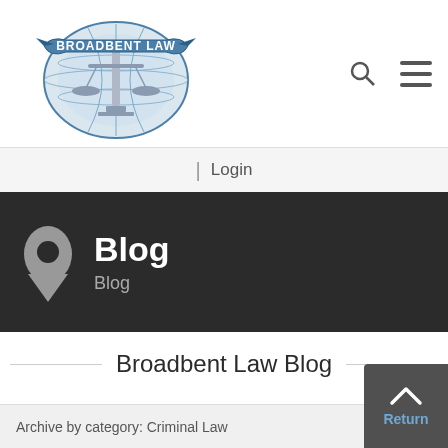[Figure (logo): Broadbent Law logo with scales of justice and banner text]
| Login
Blog
Blog
Broadbent Law Blog
Archive by category: Criminal Law
Return